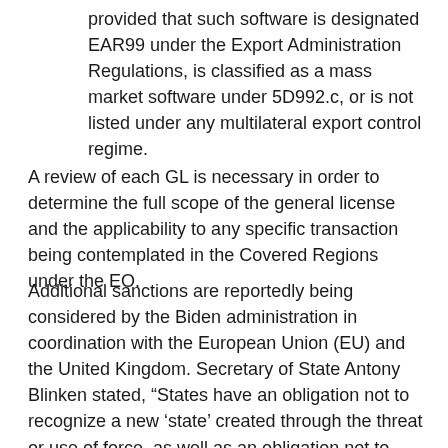provided that such software is designated EAR99 under the Export Administration Regulations, is classified as a mass market software under 5D992.c, or is not listed under any multilateral export control regime.
A review of each GL is necessary in order to determine the full scope of the general license and the applicability to any specific transaction being contemplated in the Covered Regions under the EO.
Additional sanctions are reportedly being considered by the Biden administration in coordination with the European Union (EU) and the United Kingdom. Secretary of State Antony Blinken stated, “States have an obligation not to recognize a new ‘state’ created through the threat or use of force, as well as an obligation not to disrupt